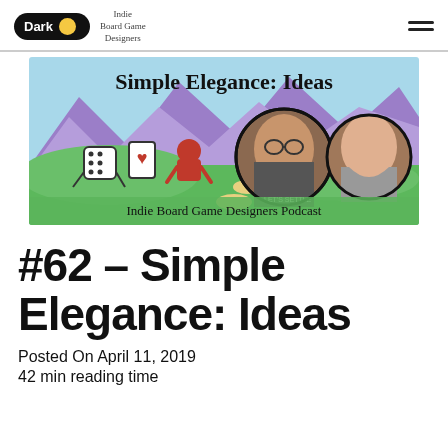Dark | Indie Board Game Designers
[Figure (photo): Banner image for 'Simple Elegance: Ideas' episode of the Indie Board Game Designers Podcast, featuring cartoon dice, playing card, and meeple characters on a green landscape with purple mountains, and two circular photos of podcast hosts. Text reads 'Simple Elegance: Ideas' and 'Indie Board Game Designers Podcast'.]
#62 – Simple Elegance: Ideas
Posted On April 11, 2019
42 min reading time